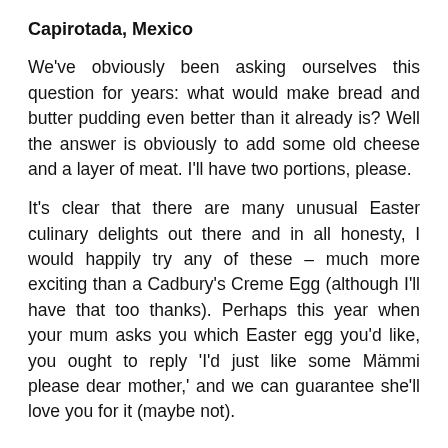Capirotada, Mexico
We've obviously been asking ourselves this question for years: what would make bread and butter pudding even better than it already is? Well the answer is obviously to add some old cheese and a layer of meat. I'll have two portions, please.
It's clear that there are many unusual Easter culinary delights out there and in all honesty, I would happily try any of these – much more exciting than a Cadbury's Creme Egg (although I'll have that too thanks). Perhaps this year when your mum asks you which Easter egg you'd like, you ought to reply 'I'd just like some Mämmi please dear mother,' and we can guarantee she'll love you for it (maybe not).